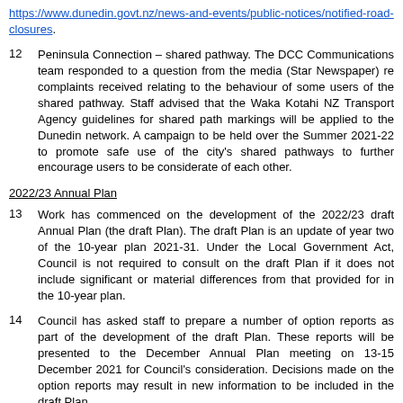https://www.dunedin.govt.nz/news-and-events/public-notices/notified-road-closures.
12   Peninsula Connection – shared pathway. The DCC Communications team responded to a question from the media (Star Newspaper) re complaints received relating to the behaviour of some users of the shared pathway. Staff advised that the Waka Kotahi NZ Transport Agency guidelines for shared path markings will be applied to the Dunedin network. A campaign to be held over the Summer 2021-22 to promote safe use of the city's shared pathways to further encourage users to be considerate of each other.
2022/23 Annual Plan
13   Work has commenced on the development of the 2022/23 draft Annual Plan (the draft Plan). The draft Plan is an update of year two of the 10-year plan 2021-31. Under the Local Government Act, Council is not required to consult on the draft Plan if it does not include significant or material differences from that provided for in the 10-year plan.
14   Council has asked staff to prepare a number of option reports as part of the development of the draft Plan. These reports will be presented to the December Annual Plan meeting on 13-15 December 2021 for Council's consideration. Decisions made on the option reports may result in new information to be included in the draft Plan.